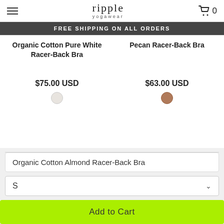ripple yogawear — FREE SHIPPING ON ALL ORDERS
Organic Cotton Pure White Racer-Back Bra
$75.00 USD
Pecan Racer-Back Bra
$63.00 USD
Organic Cotton Almond Racer-Back Bra
S
Add to Cart